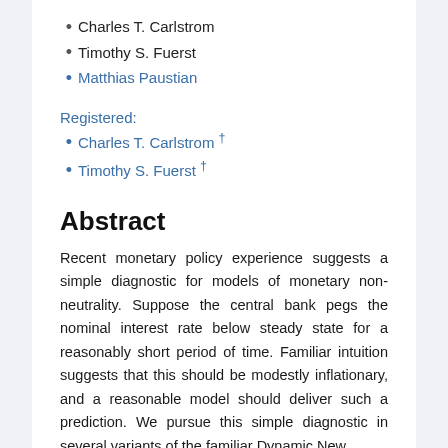Charles T. Carlstrom
Timothy S. Fuerst
Matthias Paustian
Registered:
Charles T. Carlstrom †
Timothy S. Fuerst †
Abstract
Recent monetary policy experience suggests a simple diagnostic for models of monetary non-neutrality. Suppose the central bank pegs the nominal interest rate below steady state for a reasonably short period of time. Familiar intuition suggests that this should be modestly inflationary, and a reasonable model should deliver such a prediction. We pursue this simple diagnostic in several variants of the familiar Dynamic New